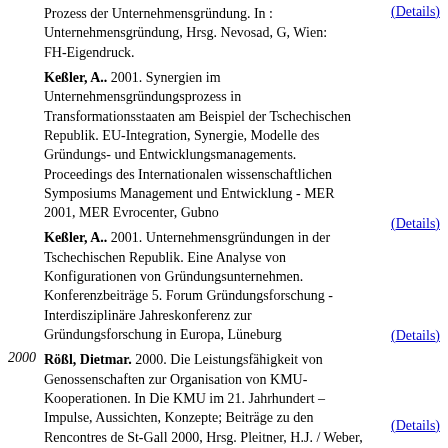Prozess der Unternehmensgründung. In : Unternehmensgründung, Hrsg. Nevosad, G, Wien: FH-Eigendruck. (Details)
Keßler, A.. 2001. Synergien im Unternehmensgründungsprozess in Transformationsstaaten am Beispiel der Tschechischen Republik. EU-Integration, Synergie, Modelle des Gründungs- und Entwicklungsmanagements. Proceedings des Internationalen wissenschaftlichen Symposiums Management und Entwicklung - MER 2001, MER Evrocenter, Gubno (Details)
Keßler, A.. 2001. Unternehmensgründungen in der Tschechischen Republik. Eine Analyse von Konfigurationen von Gründungsunternehmen. Konferenzbeiträge 5. Forum Gründungsforschung - Interdisziplinäre Jahreskonferenz zur Gründungsforschung in Europa, Lüneburg (Details)
2000 Rößl, Dietmar. 2000. Die Leistungsfähigkeit von Genossenschaften zur Organisation von KMU-Kooperationen. In Die KMU im 21. Jahrhundert – Impulse, Aussichten, Konzepte; Beiträge zu den Rencontres de St-Gall 2000, Hrsg. Pleitner, H.J. / Weber, W. , 409-421. St. Gallen: KMU Verlag (Details)